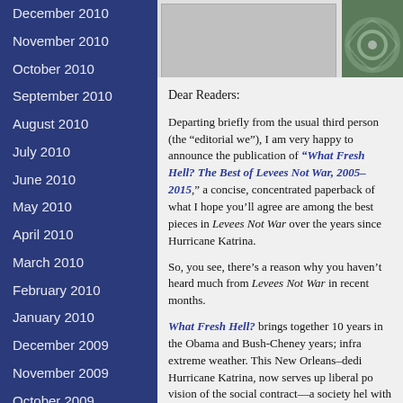December 2010
November 2010
October 2010
September 2010
August 2010
July 2010
June 2010
May 2010
April 2010
March 2010
February 2010
January 2010
December 2009
November 2009
October 2009
September 2009
August 2009
July 2009
[Figure (photo): Top banner area with gray placeholder image and hurricane satellite photo on the right]
Dear Readers:
Departing briefly from the usual third person (the “editorial we”), I am very happy to announce the publication of “What Fresh Hell? The Best of Levees Not War, 2005–2015,” a concise, concentrated paperback of what I hope you’ll agree are among the best pieces in Levees Not War over the years since Hurricane Katrina.
So, you see, there’s a reason why you haven’t heard much from Levees Not War in recent months.
What Fresh Hell? brings together 10 years in the Obama and Bush-Cheney years; infra extreme weather. This New Orleans–dedi Hurricane Katrina, now serves up liberal po vision of the social contract—a society hel with interviews with experts, tributes to acti reporting from Occupy Wall Street, and mo